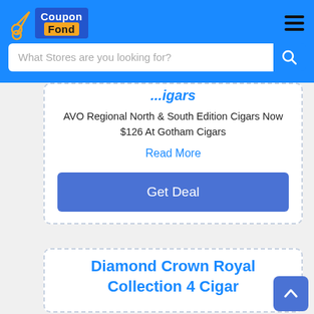[Figure (logo): CouponFond logo with scissors icon, blue background with orange 'Fond' text]
What Stores are you looking for?
...igars
AVO Regional North & South Edition Cigars Now $126 At Gotham Cigars
Read More
Get Deal
Diamond Crown Royal Collection 4 Cigar